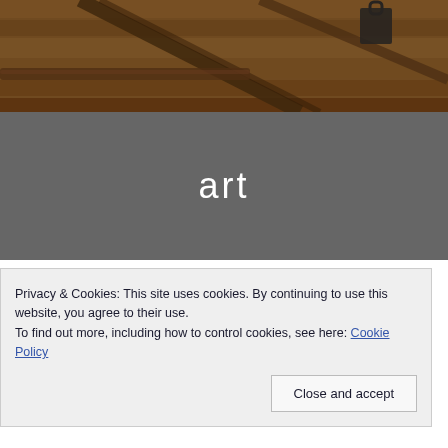[Figure (photo): Industrial/rustic scene with wooden planks, metal pipes, chains, and machinery in warm orange-brown tones]
art
[Figure (photo): Partial view of a sunset or seascape photograph in grey-blue tones]
Privacy & Cookies: This site uses cookies. By continuing to use this website, you agree to their use.
To find out more, including how to control cookies, see here: Cookie Policy
Close and accept